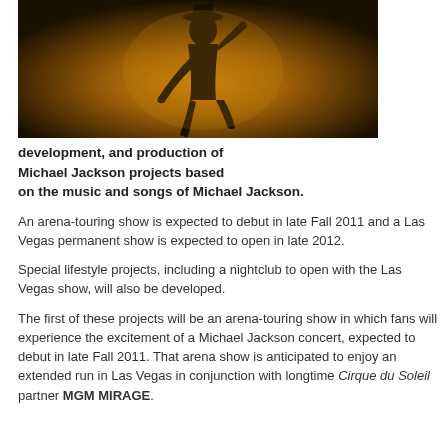[Figure (photo): Silhouette of a dancer (Michael Jackson iconic pose) against a warm golden/amber background]
development, and production of Michael Jackson projects based on the music and songs of Michael Jackson.
An arena-touring show is expected to debut in late Fall 2011 and a Las Vegas permanent show is expected to open in late 2012.
Special lifestyle projects, including a nightclub to open with the Las Vegas show, will also be developed.
The first of these projects will be an arena-touring show in which fans will experience the excitement of a Michael Jackson concert, expected to debut in late Fall 2011. That arena show is anticipated to enjoy an extended run in Las Vegas in conjunction with longtime Cirque du Soleil partner MGM MIRAGE.